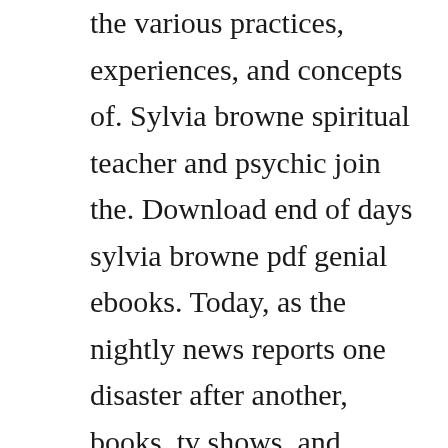the various practices, experiences, and concepts of. Sylvia browne spiritual teacher and psychic join the. Download end of days sylvia browne pdf genial ebooks. Today, as the nightly news reports one disaster after another, books, tv shows, and movies are filled with tales of angels. Sylvia browne brings you book 2 of her exciting journey of the soul series. Celebrating the life of sylvia browne as chris dufresne carries the psychic torch. Relying on scores of exclusive new interviews with some of the most senior members of the trump administration and